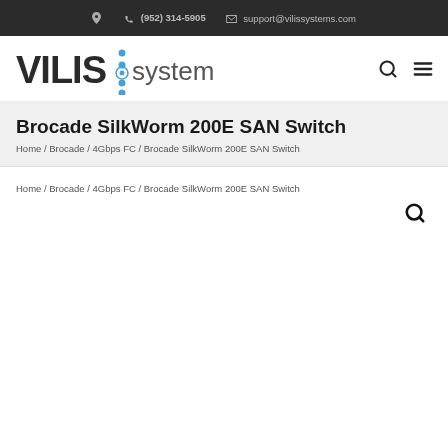(952) 314-5905  support@vilissystems.com
[Figure (logo): VILIS systems logo with blue dot divider]
Brocade SilkWorm 200E SAN Switch
Home / Brocade / 4Gbps FC / Brocade SilkWorm 200E SAN Switch
Home / Brocade / 4Gbps FC / Brocade SilkWorm 200E SAN Switch